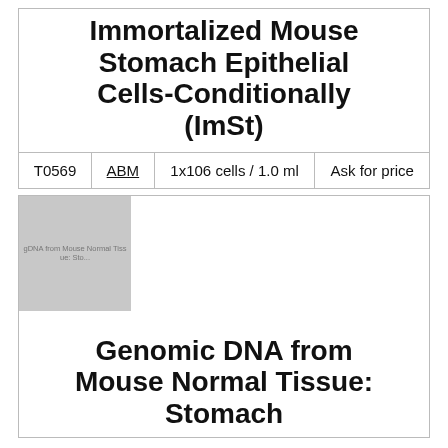Immortalized Mouse Stomach Epithelial Cells-Conditionally (ImSt)
| T0569 | ABM | 1x106 cells / 1.0 ml | Ask for price |
| --- | --- | --- | --- |
[Figure (photo): Placeholder gray image representing Genomic DNA from Mouse Normal Tissue: Stomach product]
Genomic DNA from Mouse Normal Tissue: Stomach